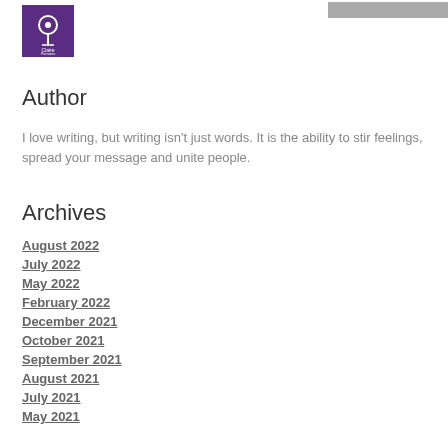[Figure (logo): Claire Parsons logo - purple square with a location pin icon and text]
Author
I love writing, but writing isn't just words. It is the ability to stir feelings, spread your message and unite people.
Archives
August 2022
July 2022
May 2022
February 2022
December 2021
October 2021
September 2021
August 2021
July 2021
May 2021